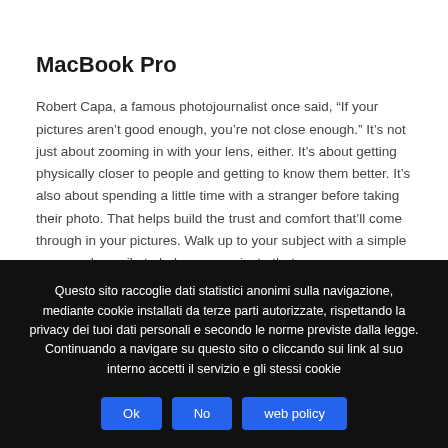MacBook Pro
Robert Capa, a famous photojournalist once said, “If your pictures aren’t good enough, you’re not close enough.” It’s not just about zooming in with your lens, either. It’s about getting physically closer to people and getting to know them better. It’s also about spending a little time with a stranger before taking their photo. That helps build the trust and comfort that’ll come through in your pictures. Walk up to your subject with a simple wave and a smile to help communicate that you mean no harm.
Ask permission to take a photo if they speak the same language as you. If
Questo sito raccoglie dati statistici anonimi sulla navigazione, mediante cookie installati da terze parti autorizzate, rispettando la privacy dei tuoi dati personali e secondo le norme previste dalla legge. Continuando a navigare su questo sito o cliccando sui link al suo interno accetti il servizio e gli stessi cookie
Ok
No
web policy